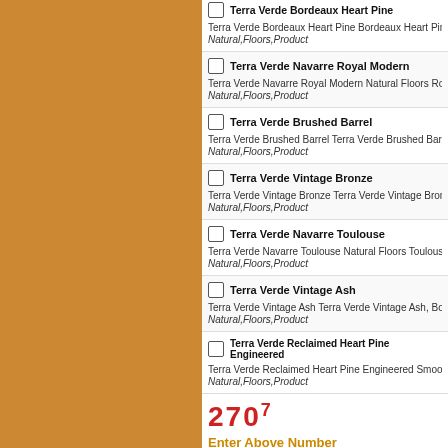Terra Verde Bordeaux Heart Pine — Terra Verde Bordeaux Heart Pine Bordeaux Heart Pine, Bord… Natural,Floors,Product
Terra Verde Navarre Royal Modern — Terra Verde Navarre Royal Modern Natural Floors Royal Mo… Natural,Floors,Product
Terra Verde Brushed Barrel — Terra Verde Brushed Barrel Terra Verde Brushed Barrel, Bord… Natural,Floors,Product
Terra Verde Vintage Bronze — Terra Verde Vintage Bronze Terra Verde Vintage Bronze, Bor… Natural,Floors,Product
Terra Verde Navarre Toulouse — Terra Verde Navarre Toulouse Natural Floors Toulouse Antiq… Natural,Floors,Product
Terra Verde Vintage Ash — Terra Verde Vintage Ash Terra Verde Vintage Ash, Bordeaux… Natural,Floors,Product
Terra Verde Reclaimed Heart Pine Engineered — Terra Verde Reclaimed Heart Pine Engineered Smooth Natur… Natural,Floors,Product
2707
Enter Above Number